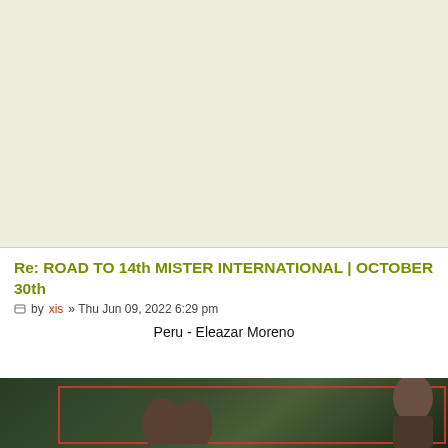[Figure (other): Large advertisement or banner area with light olive/cream background]
Re: ROAD TO 14th MISTER INTERNATIONAL | OCTOBER 30th
by xis » Thu Jun 09, 2022 6:29 pm
Peru - Eleazar Moreno
[Figure (photo): Photo of a person (Eleazar Moreno from Peru) with an animal, dark green background, red border frame overlay]